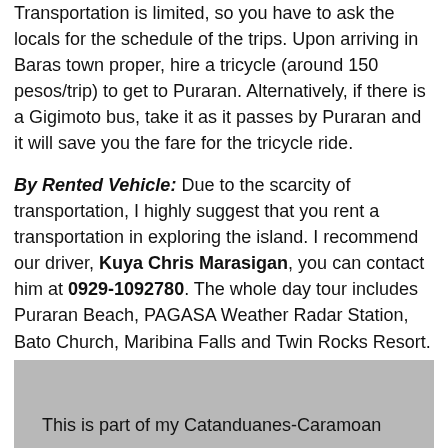Transportation is limited, so you have to ask the locals for the schedule of the trips. Upon arriving in Baras town proper, hire a tricycle (around 150 pesos/trip) to get to Puraran. Alternatively, if there is a Gigimoto bus, take it as it passes by Puraran and it will save you the fare for the tricycle ride.
By Rented Vehicle: Due to the scarcity of transportation, I highly suggest that you rent a transportation in exploring the island. I recommend our driver, Kuya Chris Marasigan, you can contact him at 0929-1092780. The whole day tour includes Puraran Beach, PAGASA Weather Radar Station, Bato Church, Maribina Falls and Twin Rocks Resort. One day tour is at 2,500 pesos on his Isuzu Crosswind which could fit around 6-8 persons.
[Figure (photo): Gray image box with caption text at bottom: 'This is part of my Catanduanes-Caramoan']
This is part of my Catanduanes-Caramoan